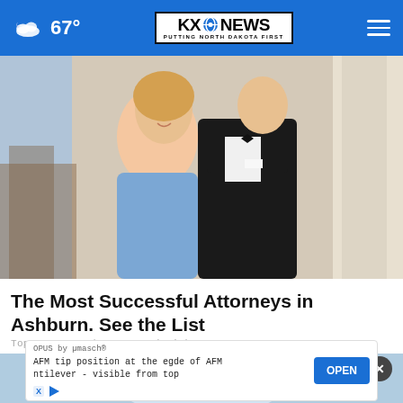67° | KXO NEWS — Putting North Dakota First
[Figure (photo): A couple posing formally — woman in a blue spaghetti-strap dress and man in a black tuxedo with bow tie, at an indoor event venue]
The Most Successful Attorneys in Ashburn. See the List
Top Attorney | Sponsored Links
[Figure (photo): Partially visible second article image with a blurred background, showing a close-up of a person]
OPUS by µmasch® AFM tip position at the egde of AFM cantilever - visible from top